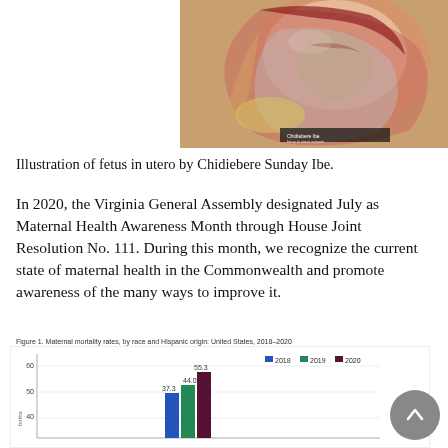[Figure (illustration): Medical illustration of fetus in utero by Chidiebere Sunday Ibe, showing cross-section of pregnant abdomen]
Illustration of fetus in utero by Chidiebere Sunday Ibe.
In 2020, the Virginia General Assembly designated July as Maternal Health Awareness Month through House Joint Resolution No. 111. During this month, we recognize the current state of maternal health in the Commonwealth and promote awareness of the many ways to improve it.
[Figure (grouped-bar-chart): Figure 1. Maternal mortality rates, by race and Hispanic origin: United States, 2018–2020]